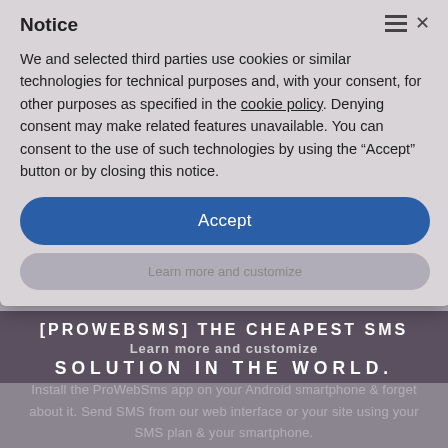Notice
We and selected third parties use cookies or similar technologies for technical purposes and, with your consent, for other purposes as specified in the cookie policy. Denying consent may make related features unavailable. You can consent to the use of such technologies by using the “Accept” button or by closing this notice.
[Figure (illustration): White dove and envelope icon overlapping, centered on page]
Accept
Learn more and customize
[ProWebSms] THE CHEAPEST SMS SOLUTION IN THE WORLD.
Install the ProWebSms app on your Android smartphone & forget about it. Send SMS from our web interface or your site using your SMS plan & your smartphone.